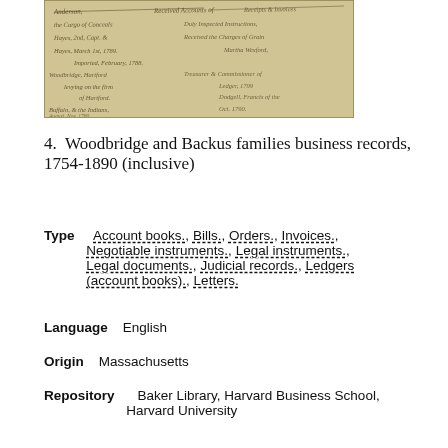[Figure (photo): Aged handwritten manuscript page with cursive script, historical document, yellowed parchment appearance]
4. Woodbridge and Backus families business records, 1754-1890 (inclusive)
Type   Account books., Bills., Orders., Invoices., Negotiable instruments., Legal instruments., Legal documents., Judicial records., Ledgers (account books)., Letters.
Language   English
Origin   Massachusetts
Repository   Baker Library, Harvard Business School, Harvard University